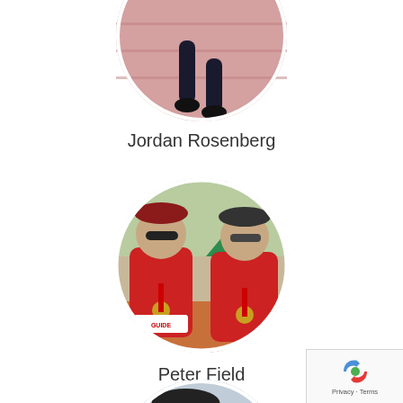[Figure (photo): Partial circular profile photo of Jordan Rosenberg showing legs running on a pink athletic track]
Jordan Rosenberg
[Figure (photo): Circular profile photo of Peter Field showing two men in red athletic shirts with medals at a running event, one wearing a GUIDE bib]
Peter Field
[Figure (photo): Partial circular profile photo of a third person, a man in a dark cap smiling with another person, partially visible at bottom of page]
[Figure (screenshot): reCAPTCHA badge overlay in bottom right showing reCAPTCHA logo and Privacy - Terms text]